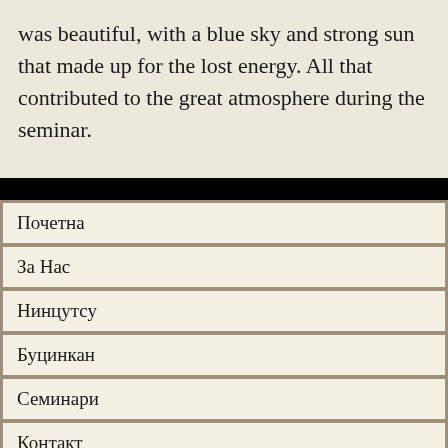was beautiful, with a blue sky and strong sun that made up for the lost energy. All that contributed to the great atmosphere during the seminar.
Почетна
За Нас
Нинцутсу
Буцинкан
Семинари
Контакт
Списание
Форум